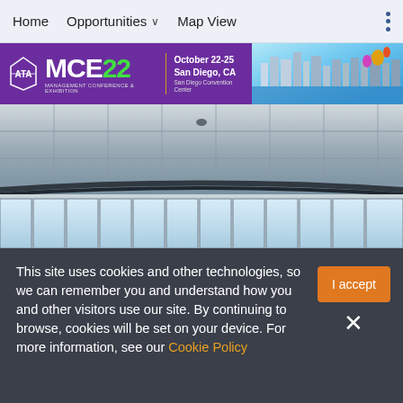Home   Opportunities ∨   Map View
[Figure (screenshot): ATA MCE 22 banner ad — Management Conference & Exhibition, October 22-25, San Diego, CA, San Diego Convention Center]
[Figure (photo): Interior photo showing ceiling tiles, track lighting, and large windows of a convention center]
This site uses cookies and other technologies, so we can remember you and understand how you and other visitors use our site. By continuing to browse, cookies will be set on your device. For more information, see our Cookie Policy